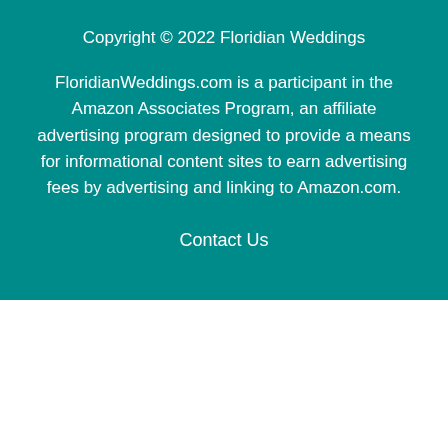Copyright © 2022 Floridian Weddings
FloridianWeddings.com is a participant in the Amazon Associates Program, an affiliate advertising program designed to provide a means for informational content sites to earn advertising fees by advertising and linking to Amazon.com.
Contact Us